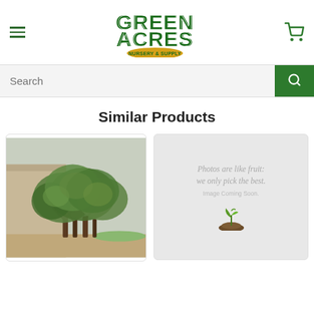Green Acres Nursery & Supply - navigation header with hamburger menu, logo, and cart icon
[Figure (screenshot): Search bar with text input placeholder 'Search' and green search button]
Similar Products
[Figure (photo): Photo of large multi-trunk olive tree in front of a building with sandy ground]
[Figure (illustration): Placeholder image with text 'Photos are like fruit: we only pick the best. Image Coming Soon.' with a small sprouting plant illustration]